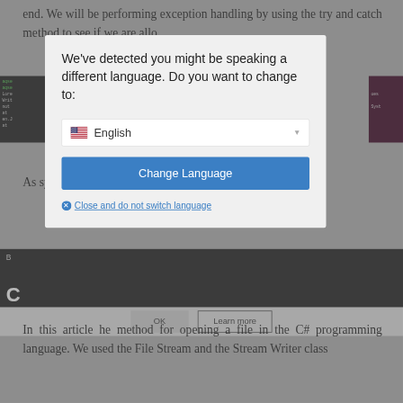end. We will be performing exception handling by using the try and catch method to see if we are allo
[Figure (screenshot): Code editor screenshot with green text on dark background showing code snippet]
As system did r is thro
[Figure (screenshot): Modal dialog: We've detected you might be speaking a different language. Do you want to change to: [English dropdown] [Change Language button] [Close and do not switch language link]]
In this article he method for opening a file in the C# programming language. We used the File Stream and the Stream Writer class